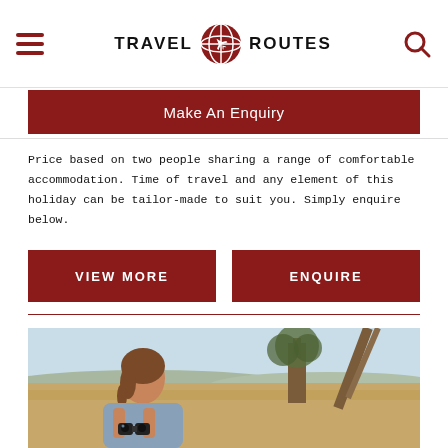Travel Routes
Make An Enquiry
Price based on two people sharing a range of comfortable accommodation. Time of travel and any element of this holiday can be tailor-made to suit you. Simply enquire below.
VIEW MORE
ENQUIRE
[Figure (photo): Woman with binoculars on an African safari, looking out at a dry savanna landscape with acacia trees]